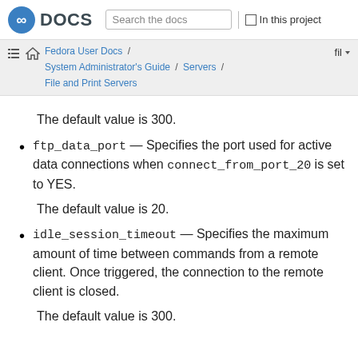Fedora DOCS | Search the docs | In this project
Fedora User Docs / System Administrator's Guide / Servers / File and Print Servers
The default value is 300.
ftp_data_port — Specifies the port used for active data connections when connect_from_port_20 is set to YES.
The default value is 20.
idle_session_timeout — Specifies the maximum amount of time between commands from a remote client. Once triggered, the connection to the remote client is closed.
The default value is 300.